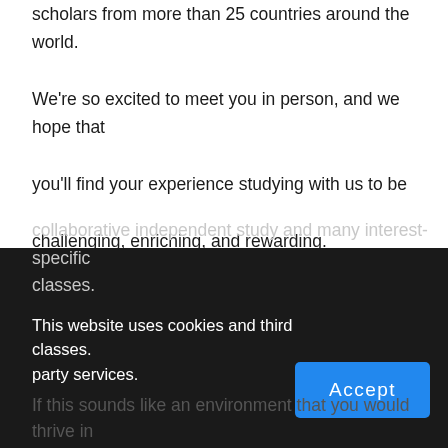scholars from more than 25 countries around the world.
We're so excited to meet you in person, and we hope that you'll find your experience studying with us to be challenging, enriching, and rewarding.
We're happy to say that our international students bring exciting and vibrant perspectives to our campus, contributing thoughtful discussions in class and developing strong relationships with their peers and professors.
Students have access to a variety of opportunities, including collaborative independent study and many interest-specific classes.
This website uses cookies and third party services.
If this sounds like an environment that you would thrive in